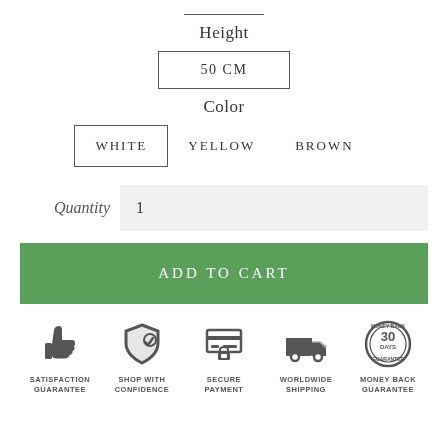Height
50 CM
Color
WHITE   YELLOW   BROWN
Quantity  1
ADD TO CART
[Figure (infographic): Five trust badge icons: Satisfaction Guarantee (thumbs up), Shop With Confidence (shield with checkmark), Secure Payment (credit card with lock), Worldwide Shipping (delivery truck), Money Back Guarantee 30 Days (circular badge)]